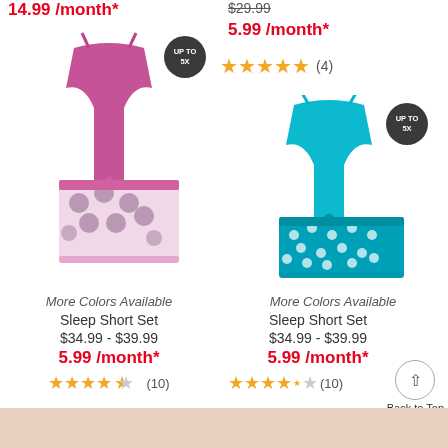14.99 /month*
$29.99
5.99 /month*
★★★★★ (4)
[Figure (photo): Purple/magenta cami and printed shorts sleep set with UP TO 5X badge]
[Figure (photo): Aqua/teal cami and polka dot shorts sleep set with UP TO 5X badge]
More Colors Available
Sleep Short Set
$34.99 - $39.99
5.99 /month*
★★★★½ (10)
More Colors Available
Sleep Short Set
$34.99 - $39.99
5.99 /month*
★★★★½ (10)
Back to Top